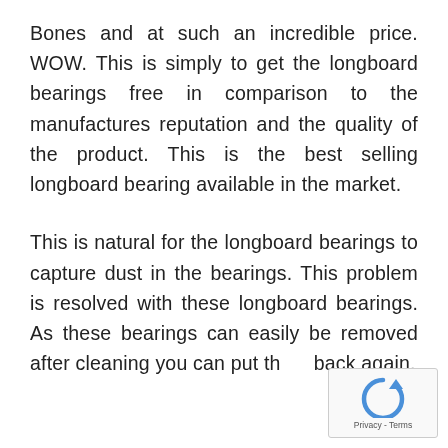Bones and at such an incredible price. WOW. This is simply to get the longboard bearings free in comparison to the manufactures reputation and the quality of the product. This is the best selling longboard bearing available in the market.
This is natural for the longboard bearings to capture dust in the bearings. This problem is resolved with these longboard bearings. As these bearings can easily be removed after cleaning you can put them back again.
[Figure (other): reCAPTCHA widget with circular arrow icon and Privacy - Terms footer text]